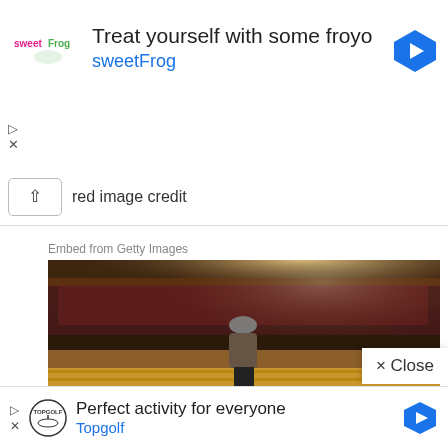[Figure (infographic): SweetFrog frozen yogurt advertisement banner with logo, headline 'Treat yourself with some froyo', brand name 'sweetFrog', and blue navigation arrow icon]
red image credit
Embed from Getty Images
[Figure (photo): Person standing on a stage in a large arena/auditorium filled with a crowd of people; empty yellow/orange seats in the foreground]
× Close
[Figure (infographic): Topgolf advertisement banner with logo, headline 'Perfect activity for everyone', brand name 'Topgolf', and blue navigation arrow icon]